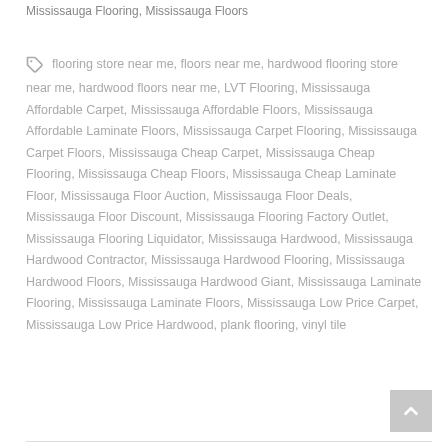Mississauga Flooring, Mississauga Floors
flooring store near me, floors near me, hardwood flooring store near me, hardwood floors near me, LVT Flooring, Mississauga Affordable Carpet, Mississauga Affordable Floors, Mississauga Affordable Laminate Floors, Mississauga Carpet Flooring, Mississauga Carpet Floors, Mississauga Cheap Carpet, Mississauga Cheap Flooring, Mississauga Cheap Floors, Mississauga Cheap Laminate Floor, Mississauga Floor Auction, Mississauga Floor Deals, Mississauga Floor Discount, Mississauga Flooring Factory Outlet, Mississauga Flooring Liquidator, Mississauga Hardwood, Mississauga Hardwood Contractor, Mississauga Hardwood Flooring, Mississauga Hardwood Floors, Mississauga Hardwood Giant, Mississauga Laminate Flooring, Mississauga Laminate Floors, Mississauga Low Price Carpet, Mississauga Low Price Hardwood, plank flooring, vinyl tile